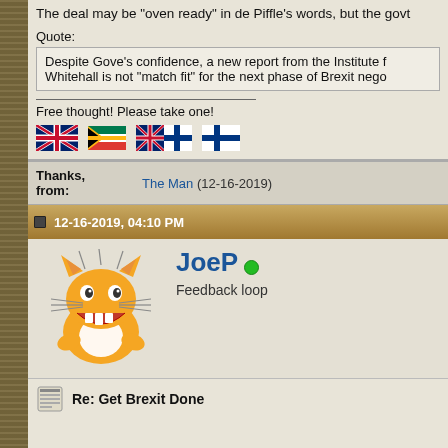The deal may be "oven ready" in de Piffle's words, but the govt
Quote: Despite Gove's confidence, a new report from the Institute f... Whitehall is not "match fit" for the next phase of Brexit nego...
Free thought! Please take one!
[Figure (illustration): Four flags: UK flag, South Africa flag, UK+Finland combined flag, Finland flag]
Thanks, from:
The Man (12-16-2019)
12-16-2019, 04:10 PM
[Figure (illustration): Cartoon orange cat avatar with big grin]
JoeP — Feedback loop (online)
Re: Get Brexit Done